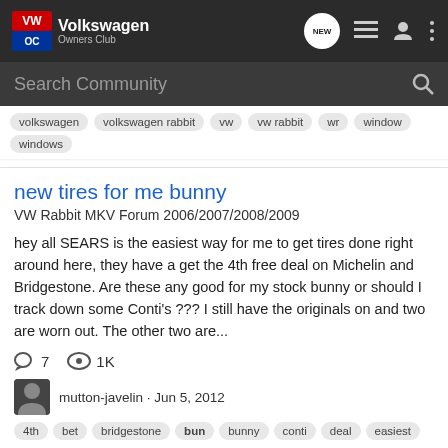Volkswagen Owners Club
volkswagen   volkswagen rabbit   vw   vw rabbit   wr   window
windows
new tires for me bunny
VW Rabbit MKV Forum 2006/2007/2008/2009
hey all SEARS is the easiest way for me to get tires done right around here, they have a get the 4th free deal on Michelin and Bridgestone. Are these any good for my stock bunny or should I track down some Conti's ??? I still have the originals on and two are worn out. The other two are...
7   1K
mutton-javelin · Jun 5, 2012
4th   bet   bridgestone   bun   bunny   conti   deal   easiest